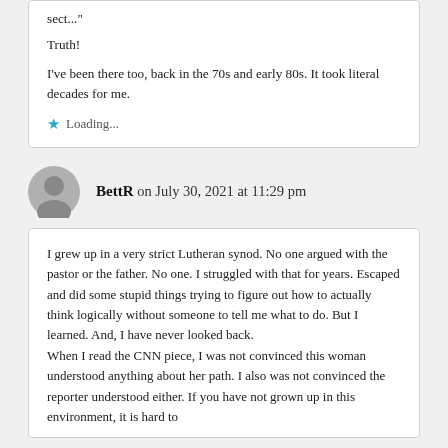sect..."
Truth!
I've been there too, back in the 70s and early 80s. It took literal decades for me.
★ Loading...
BettR on July 30, 2021 at 11:29 pm
I grew up in a very strict Lutheran synod. No one argued with the pastor or the father. No one. I struggled with that for years. Escaped and did some stupid things trying to figure out how to actually think logically without someone to tell me what to do. But I learned. And, I have never looked back.
When I read the CNN piece, I was not convinced this woman understood anything about her path. I also was not convinced the reporter understood either. If you have not grown up in this environment, it is hard to